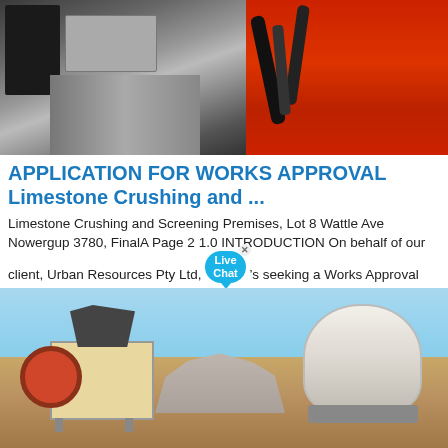[Figure (photo): Close-up photograph of industrial machinery with red and dark metal components, hydraulic hoses and cables visible]
APPLICATION FOR WORKS APPROVAL
Limestone Crushing and ...
Limestone Crushing and Screening Premises, Lot 8 Wattle Ave Nowergup 3780, FinalA Page 2 1.0 INTRODUCTION On behalf of our client, Urban Resources Pty Ltd, seeking a Works Approval from the Department of Environment and Conservation for a
More Details
[Figure (photo): Photograph of limestone crushing equipment outdoors on sandy terrain with a jaw crusher on the left showing a red flywheel, and a cone crusher on the right, with blue sky and rock piles in background]